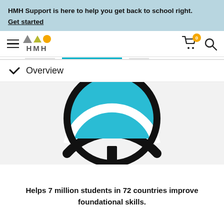HMH Support is here to help you get back to school right. Get started
[Figure (logo): HMH logo with hamburger menu, cart icon with badge 0, and search icon in navigation bar]
Overview
[Figure (illustration): Globe illustration with blue top half and black stand, partially cropped]
Helps 7 million students in 72 countries improve foundational skills.